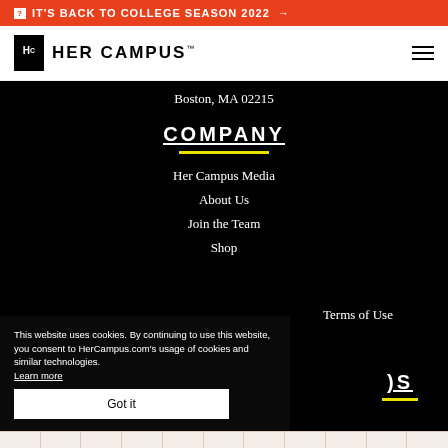IT'S BACK TO COLLEGE SEASON 2022 →
[Figure (logo): Her Campus logo with Hc icon and text HER CAMPUS™]
Boston, MA 02215
COMPANY
Her Campus Media
About Us
Join the Team
Shop
Terms of Use
OS
This website uses cookies. By continuing to use this website, you consent to HerCampus.com's usage of cookies and similar technologies. Learn more
Got it
grid footer area